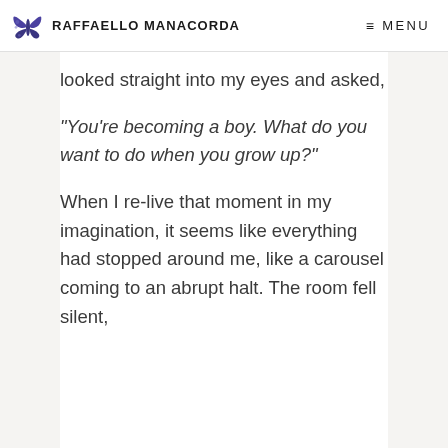RAFFAELLO MANACORDA   ≡ MENU
looked straight into my eyes and asked,
“You’re becoming a boy. What do you want to do when you grow up?”
When I re-live that moment in my imagination, it seems like everything had stopped around me, like a carousel coming to an abrupt halt. The room fell silent,